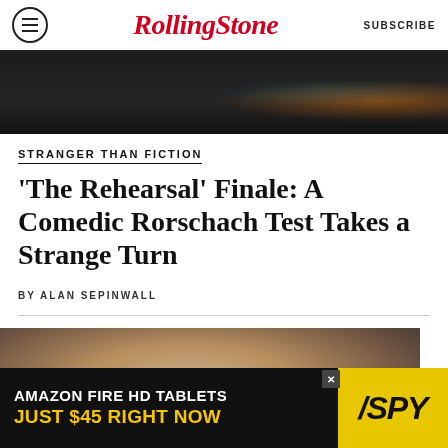RollingStone  SUBSCRIBE
[Figure (photo): Dark overhead shot of what appears to be a mixing board or electronic equipment with orange and green lights]
STRANGER THAN FICTION
'The Rehearsal' Finale: A Comedic Rorschach Test Takes a Strange Turn
BY ALAN SEPINWALL
[Figure (photo): Close-up photo of an older man with gray hair in a crowd, blurred background with other people]
[Figure (advertisement): Amazon Fire HD Tablets advertisement: AMAZON FIRE HD TABLETS JUST $45 RIGHT NOW with SPY logo in yellow on dark background]